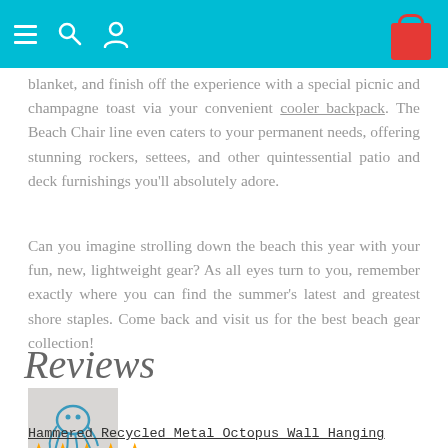[navigation bar with menu, search, user icons and cart]
blanket, and finish off the experience with a special picnic and champagne toast via your convenient cooler backpack. The Beach Chair line even caters to your permanent needs, offering stunning rockers, settees, and other quintessential patio and deck furnishings you'll absolutely adore.
Can you imagine strolling down the beach this year with your fun, new, lightweight gear? As all eyes turn to you, remember exactly where you can find the summer's latest and greatest shore staples. Come back and visit us for the best beach gear collection!
Reviews
[Figure (photo): Thumbnail image of a hammered recycled metal octopus wall hanging decoration]
Hammered Recycled Metal Octopus Wall Hanging
★★★★★